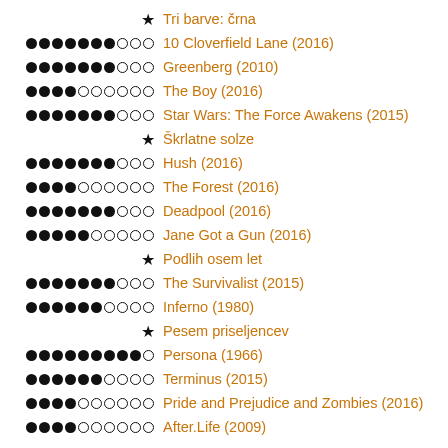★ Tri barve: črna
●●●●●●●○○○ 10 Cloverfield Lane (2016)
●●●●●●●○○○ Greenberg (2010)
●●●●○○○○○○ The Boy (2016)
●●●●●●●○○○ Star Wars: The Force Awakens (2015)
★ Škrlatne solze
●●●●●●●○○○ Hush (2016)
●●●●○○○○○○ The Forest (2016)
●●●●●●●○○○ Deadpool (2016)
●●●●●○○○○○ Jane Got a Gun (2016)
★ Podlih osem let
●●●●●●●○○○ The Survivalist (2015)
●●●●●●○○○○ Inferno (1980)
★ Pesem priseljencev
●●●●●●●●●○ Persona (1966)
●●●●●●○○○○ Terminus (2015)
●●●●○○○○○○ Pride and Prejudice and Zombies (2016)
●●●●○○○○○○ After.Life (2009)